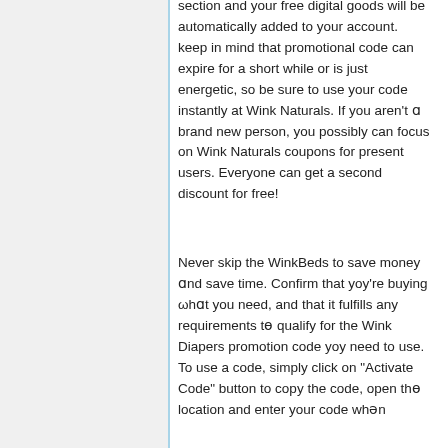section and your free digital goods will be automatically added to your account. Keep in mind that promotional code can expire for a short while or is just energetic, so be sure to use your code instantly at Wink Naturals. If you aren't a brand new person, you possibly can focus on Wink Naturals coupons for present users. Everyone can get a second discount for free!
Never skip the WinkBeds to save money and save time. Confirm that you're buying what you need, and that it fulfills any requirements to qualify for the Wink Diapers promotion code you need to use. To use a code, simply click on "Activate Code" button to copy the code, open the location and enter your code when